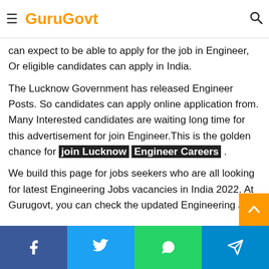≡ GuruGovt 🔍
If your qualification is (B.E. and B.Tech) Graduates, Civil Engineering, Mechanical Engineering, Electrical Engineering, Electronics and Communications Engineering council then you can expect to be able to apply for the job in Engineer, Or eligible candidates can apply in India.
The Lucknow Government has released Engineer Posts. So candidates can apply online application from. Many Interested candidates are waiting long time for this advertisement for join Engineer.This is the golden chance for join Lucknow Engineer Careers .
We build this page for jobs seekers who are all looking for latest Engineering Jobs vacancies in India 2022. At Gurugovt, you can check the updated Engineering Jobs recruitment notifications for both fresher and experienced candidates
Facebook | Twitter | WhatsApp | Telegram